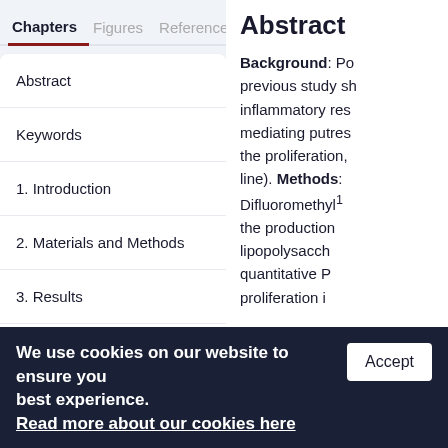Chapters | Figures | References
Abstract
Keywords
1. Introduction
2. Materials and Methods
3. Results
4. Discussion
5. Conclusions
Abstract
Background: Po previous study sh inflammatory res mediating putres the proliferation, line). Methods: Difluoromethyl the production lipopolysaccha quantitative Pโ proliferation i
We use cookies on our website to ensure you best experience. Read more about our cookies here